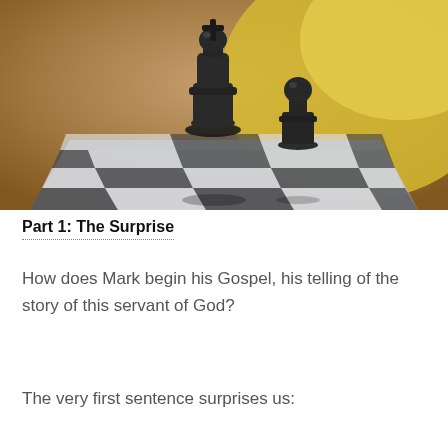[Figure (photo): Close-up photograph of a black chess king and pawn pieces on a chessboard, with blurred background showing a person in a yellow shirt.]
Part 1: The Surprise
How does Mark begin his Gospel, his telling of the story of this servant of God?
The very first sentence surprises us: